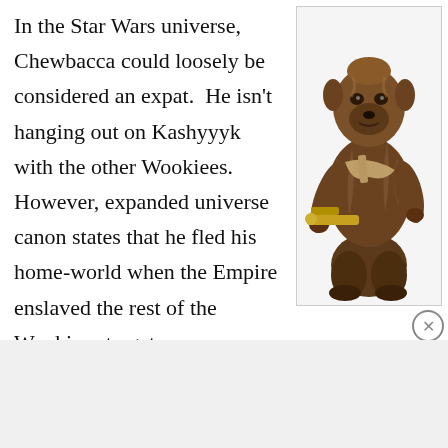In the Star Wars universe, Chewbacca could loosely be considered an expat. He isn't hanging out on Kashyyyk with the other Wookiees. However, expanded universe canon states that he fled his home-world when the Empire enslaved the rest of the Wookiees to get
[Figure (photo): Photo of Chewbacca character from Star Wars, a tall furry creature holding a crossbow-style blaster weapon, shown in full body against a light background inside a bordered box.]
Advertisements
[Figure (infographic): DuckDuckGo advertisement banner with orange/red background. Left side text: 'Search, browse, and email with more privacy.' with a white pill-shaped button 'All in One Free App'. Right side shows a dark smartphone with DuckDuckGo logo and text 'DuckDuckGo.']